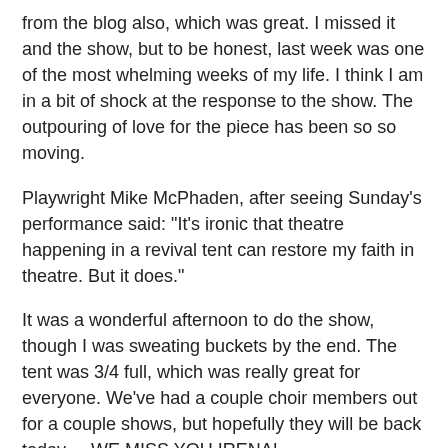from the blog also, which was great. I missed it and the show, but to be honest, last week was one of the most whelming weeks of my life. I think I am in a bit of shock at the response to the show. The outpouring of love for the piece has been so so moving.
Playwright Mike McPhaden, after seeing Sunday's performance said: "It's ironic that theatre happening in a revival tent can restore my faith in theatre. But it does."
It was a wonderful afternoon to do the show, though I was sweating buckets by the end. The tent was 3/4 full, which was really great for everyone. We've had a couple choir members out for a couple shows, but hopefully they will be back today ... WE MISS YOU IRENA!
I am going to be on METRO MORNING on CBC RADIO Tomorrow morning at around 7:45. I will likely be on with Judith, and we are going to be talking a bit the history of the show, and likely a bit about our relationship. I'm pretty nervous about this, because I'm not sure what Judith would have to say ... but either way, I'm sure its going to be a